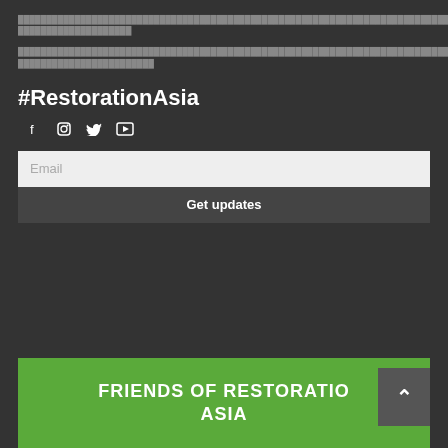████████████████████████████████████████████████████████████████████████████████████████████████████████████████
████████████████████████████████████████████████████████████████████████████████████████████████████████████████████████████████
#RestorationAsia
[Figure (illustration): Social media icons: Facebook, Instagram, Twitter, YouTube]
Email
Get updates
FRIENDS OF RESTORATION ASIA